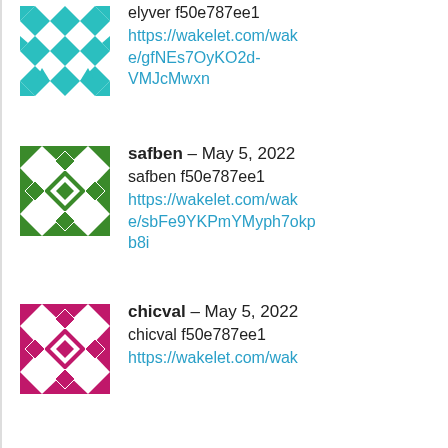[Figure (illustration): Teal/green geometric avatar icon for user elyver]
elyver f50e787ee1
https://wakelet.com/wake/gfNEs7OyKO2d-VMJcMwxn
[Figure (illustration): Green geometric avatar icon for user safben]
safben – May 5, 2022
safben f50e787ee1
https://wakelet.com/wake/sbFe9YKPmYMyph7okpb8i
[Figure (illustration): Magenta/pink geometric avatar icon for user chicval]
chicval – May 5, 2022
chicval f50e787ee1
https://wakelet.com/wak